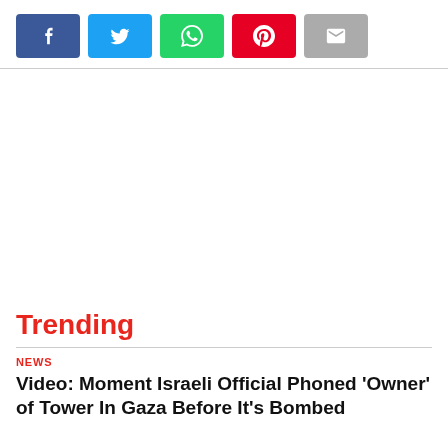[Figure (infographic): Row of social share buttons: Facebook (blue), Twitter (cyan), WhatsApp (green), Pinterest (red), Email (gray)]
Trending
NEWS
Video: Moment Israeli Official Phoned 'Owner' of Tower In Gaza Before It's Bombed